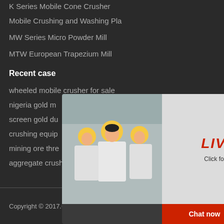K Series Mobile Cone Crusher
Mobile Crushing and Washing Pla
MW Series Micro Powder Mill
MTW European Trapezium Mill
Recent case
wheeled mobile crusher for sale
nigeria gold m…
screen gold du…
crushing equip…
mining ore thre…
aggregate crusher synopsis
[Figure (screenshot): Live chat popup with workers in hard hats on left, LIVE CHAT text in red, Click for a Free Consultation text, Chat now and Chat later buttons]
[Figure (screenshot): Right sidebar with 24Hrs Online bar, customer service agent photo, Need questions & suggestion text, Chat Now button, Enquiry section, limingjlmofen text]
Copyright © 2017.Company name All rights reserved.